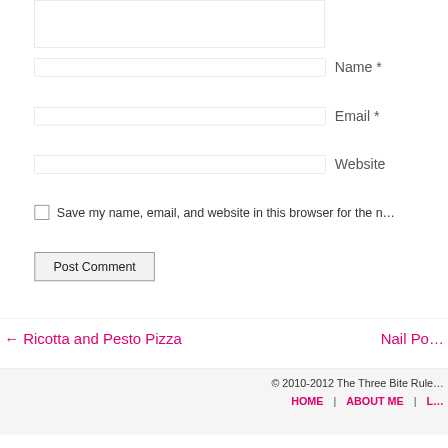[textarea input box]
Name *
Email *
Website
Save my name, email, and website in this browser for the n…
Post Comment
← Ricotta and Pesto Pizza
Nail Po…
© 2010-2012 The Three Bite Rule   HOME   ABOUT ME   L…